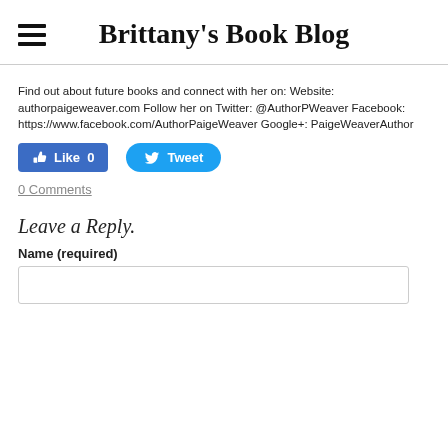Brittany's Book Blog
Find out about future books and connect with her on: Website: authorpaigeweaver.com Follow her on Twitter: @AuthorPWeaver Facebook: https://www.facebook.com/AuthorPaigeWeaver Google+: PaigeWeaverAuthor
[Figure (screenshot): Facebook Like button (blue, count 0) and Twitter Tweet button (blue, rounded)]
0 Comments
Leave a Reply.
Name (required)